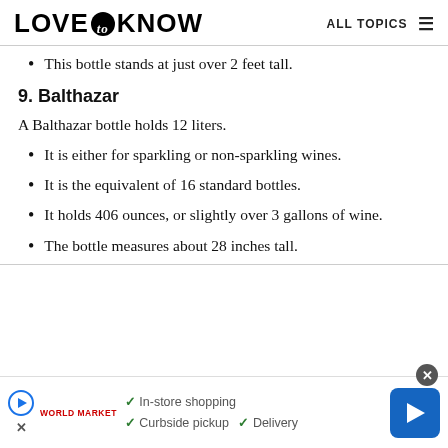LOVE to KNOW  ALL TOPICS
This bottle stands at just over 2 feet tall.
9. Balthazar
A Balthazar bottle holds 12 liters.
It is either for sparkling or non-sparkling wines.
It is the equivalent of 16 standard bottles.
It holds 406 ounces, or slightly over 3 gallons of wine.
The bottle measures about 28 inches tall.
In-store shopping  Curbside pickup  Delivery